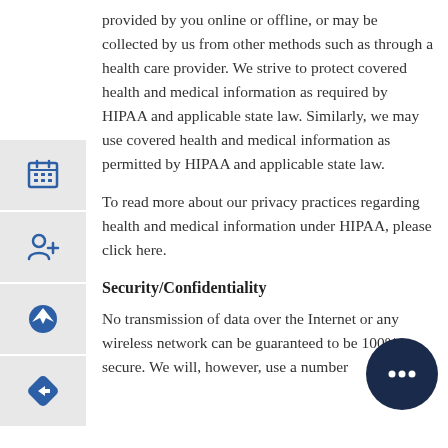provided by you online or offline, or may be collected by us from other methods such as through a health care provider. We strive to protect covered health and medical information as required by HIPAA and applicable state law. Similarly, we may use covered health and medical information as permitted by HIPAA and applicable state law.
[Figure (illustration): Four icons in gray boxes on the left side: calendar/grid icon, person-add icon, messenger icon, navigation/arrow icon]
To read more about our privacy practices regarding health and medical information under HIPAA, please click here.
Security/Confidentiality
No transmission of data over the Internet or any wireless network can be guaranteed to be 100% secure. We will, however, use a number